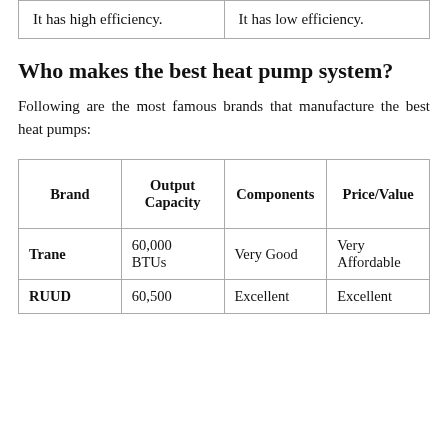| It has high efficiency. | It has low efficiency. |
Who makes the best heat pump system?
Following are the most famous brands that manufacture the best heat pumps:
| Brand | Output Capacity | Components | Price/Value |
| --- | --- | --- | --- |
| Trane | 60,000 BTUs | Very Good | Very Affordable |
| RUUD | 60,500 | Excellent | Excellent |